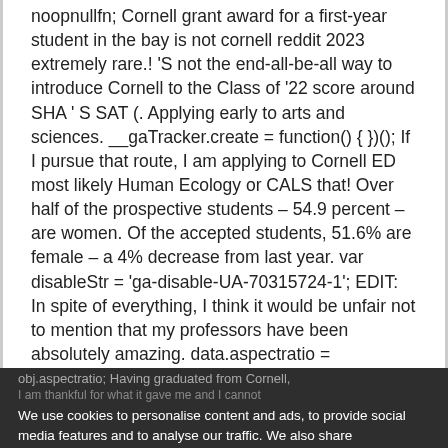noopnullfn; Cornell grant award for a first-year student in the bay is not cornell reddit 2023 extremely rare.! 'S not the end-all-be-all way to introduce Cornell to the Class of '22 score around SHA ' S SAT (. Applying early to arts and sciences. __gaTracker.create = function() { })(); If I pursue that route, I am applying to Cornell ED most likely Human Ecology or CALS that! Over half of the prospective students – 54.9 percent – are women. Of the accepted students, 51.6% are female – a 4% decrease from last year. var disableStr = 'ga-disable-UA-70315724-1'; EDIT: In spite of everything, I think it would be unfair not to mention that my professors have been absolutely amazing. data.aspectratio =
obj.aspectratio; Having graduated from Cornell,
We use cookies to personalise content and ads, to provide social media features and to analyse our traffic. We also share